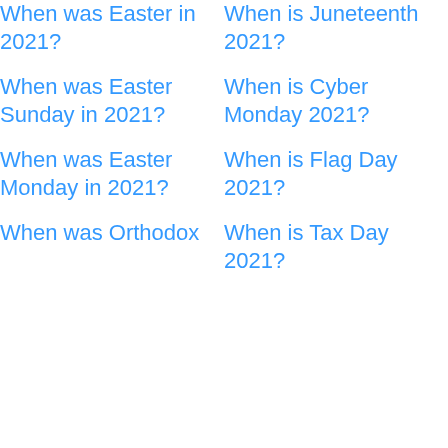When was Easter in 2021?
When was Easter Sunday in 2021?
When was Easter Monday in 2021?
When was Orthodox
When is Juneteenth 2021?
When is Cyber Monday 2021?
When is Flag Day 2021?
When is Tax Day 2021?